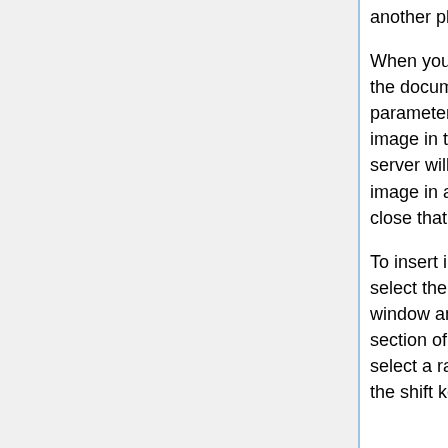another place.
When you are selecting a DICOM image for insertion in the document, you may want to check on its parameters. If you hold the Alt key down and click the image in the right-hand column (the file cabinet), the server will display a list of all the elements in the DICOM image in a separate window. After looking at it, you can close that window and return to the editor.
To insert images into the currently displayed section, select them in the column on the right side of the window and click the Insert images button in the Items section of the toolbar. To select an image, click on it. To select a range of images, click the first one, hold down the shift key, and click the last one. To select